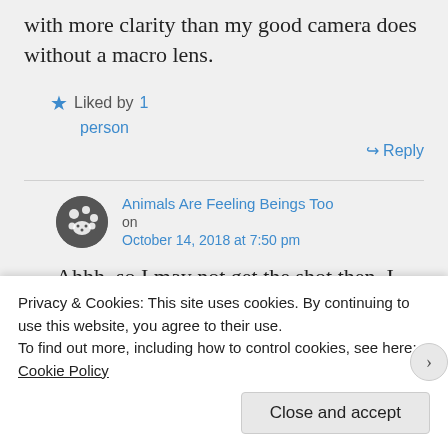with more clarity than my good camera does without a macro lens.
★ Liked by 1 person
↪ Reply
Animals Are Feeling Beings Too on October 14, 2018 at 7:50 pm
Ahhh, so I may not get the shot then. I don't have a camera where I can change
Privacy & Cookies: This site uses cookies. By continuing to use this website, you agree to their use. To find out more, including how to control cookies, see here: Cookie Policy
Close and accept